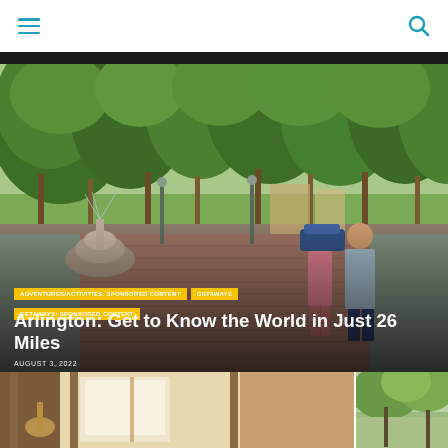Navigation menu and search bar
[Figure (photo): Couple walking on a brick pedestrian street in Arlington lined with large green trees and a tiered stone fountain on the left; woman in floral dress, man in gray shirt; golden hour ambiance]
ADVENTURES/ACTIVITIES: SPONSORED CONTENT
GETAWAYS
GETAWAYS: SPONSORED CONTENT
Arlington: Get to Know the World in Just 26 Miles
AUGUST 3, 2022
[Figure (photo): Interior room with warm wooden tones and soft lighting — partial view of a hotel or restaurant interior]
[Figure (photo): Outdoor aerial or elevated view with green trees and open space]